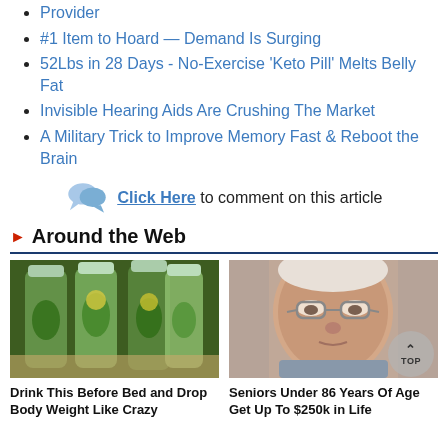Provider
#1 Item to Hoard — Demand Is Surging
52Lbs in 28 Days - No-Exercise 'Keto Pill' Melts Belly Fat
Invisible Hearing Aids Are Crushing The Market
A Military Trick to Improve Memory Fast & Reboot the Brain
Click Here to comment on this article
Around the Web
[Figure (photo): Three glass bottles filled with green vegetables and water, infused water drink]
Drink This Before Bed and Drop Body Weight Like Crazy
[Figure (photo): Close-up portrait of an elderly man with glasses]
Seniors Under 86 Years Of Age Get Up To $250k in Life